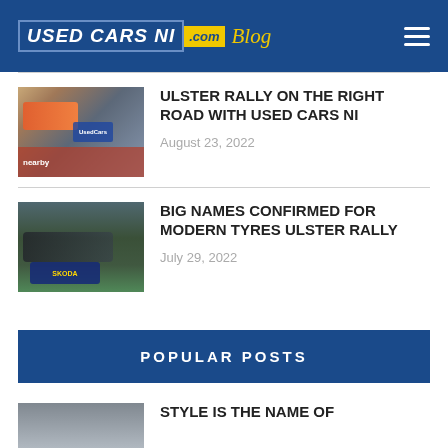USED CARS NI .com Blog
ULSTER RALLY ON THE RIGHT ROAD WITH USED CARS NI
August 23, 2022
BIG NAMES CONFIRMED FOR MODERN TYRES ULSTER RALLY
July 29, 2022
POPULAR POSTS
STYLE IS THE NAME OF